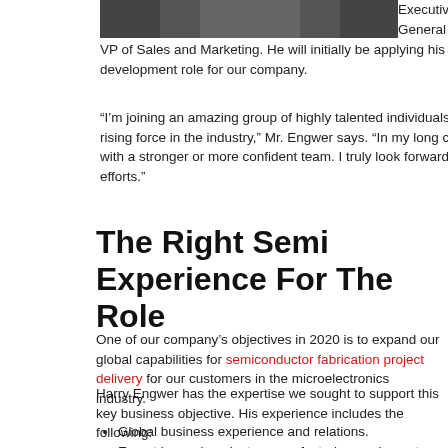[Figure (photo): Partial view of a person in dark clothing, cropped photo at top of page]
Executive Director, General Manager, and VP of Sales and Marketing. He will initially be applying his expertise in a business development role for our company.
“I’m joining an amazing group of highly talented individuals that combine to create a rising force in the industry,” Mr. Engwer says. “In my long career, I have never worked with a stronger or more confident team. I truly look forward to contributing to their efforts.”
The Right Semi Experience For The Role
One of our company’s objectives in 2020 is to expand our global capabilities for semiconductor fabrication project delivery for our customers in the microelectronics industry.
Harry Engwer has the expertise we sought to support this key business objective. His experience includes the following:
Global business experience and relations.
Expert in semiconductor manufacturing equipment engineering, sales, support, and refurbishment.